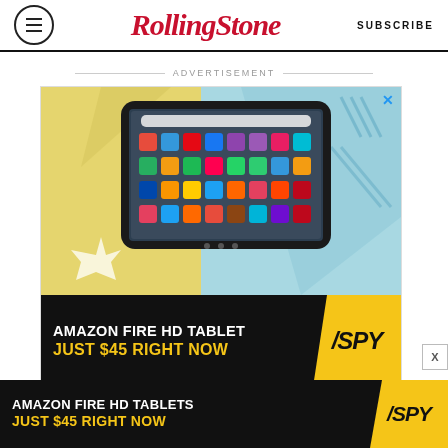Rolling Stone | SUBSCRIBE
ADVERTISEMENT
[Figure (screenshot): Advertisement for Amazon Fire HD Tablet showing a tablet device with app icons on screen, colorful background with yellow and blue geometric shapes. Text reads: AMAZON FIRE HD TABLET / JUST $45 RIGHT NOW with SPY logo]
[Figure (screenshot): Bottom sticky ad: AMAZON FIRE HD TABLETS / JUST $45 RIGHT NOW with SPY logo]